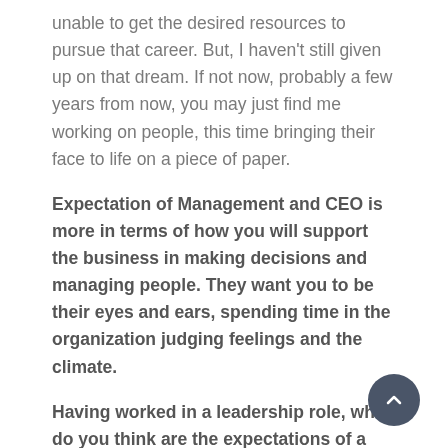unable to get the desired resources to pursue that career. But, I haven't still given up on that dream. If not now, probably a few years from now, you may just find me working on people, this time bringing their face to life on a piece of paper.
Expectation of Management and CEO is more in terms of how you will support the business in making decisions and managing people. They want you to be their eyes and ears, spending time in the organization judging feelings and the climate.
Having worked in a leadership role, what do you think are the expectations of a CEO or the Management Team from its HR Function in general and HR Head in particular?
HR, as a function itself, has seen a lot of changes over